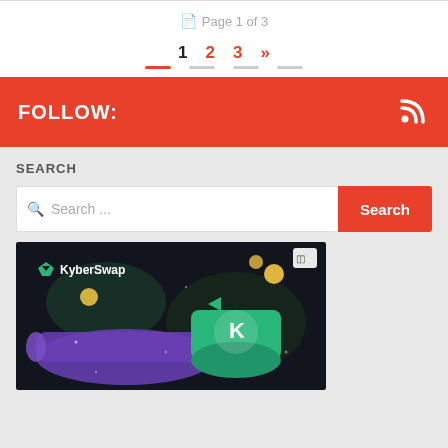Page 1 of 3
1  2  3  »
FOLLOW:
SEARCH
Search ...
[Figure (screenshot): KyberSwap promotional banner with logo and 3D coin graphics on dark background]